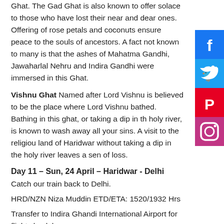Ghat. The Gad Ghat is also known to offer solace to those who have lost their near and dear ones. Offering of rose petals and coconuts ensure peace to the souls of ancestors. A fact not known to many is that the ashes of Mahatma Gandhi, Jawaharlal Nehru and Indira Gandhi were immersed in this Ghat.
Vishnu Ghat Named after Lord Vishnu is believed to be the place where Lord Vishnu bathed. Bathing in this ghat, or taking a dip in the holy river, is known to wash away all your sins. A visit to the religious land of Haridwar without taking a dip in the holy river leaves a sense of loss.
Day 11 – Sun, 24 April – Haridwar - Delhi
Catch our train back to Delhi.
HRD/NZN Niza Muddin ETD/ETA: 1520/1932 Hrs
Transfer to Indira Ghandi International Airport for flights back home
Experiences
Visit the Golden Temple, the holiest site for the Sikh religion
Watch the “Changing of the Guards” ceremony held by Pakistani Rangers and Indian BSF in the India/Pakistan border